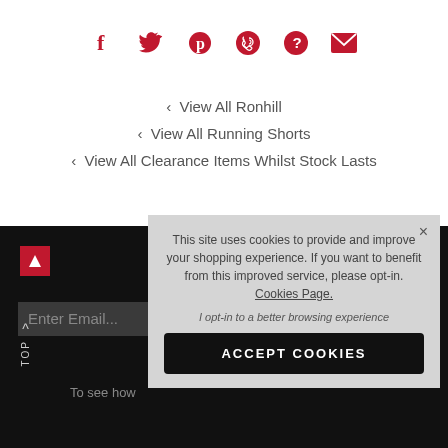[Figure (infographic): Row of social media sharing icons in red: Facebook (f), Twitter (bird), Pinterest (P), WhatsApp (phone), help (?), email (envelope)]
‹ View All Ronhill
‹ View All Running Shorts
‹ View All Clearance Items Whilst Stock Lasts
[Figure (screenshot): Dark footer area with red arrow icon, email input field showing 'Enter Email...', TOP back-to-top button, and partial text 'To see how']
This site uses cookies to provide and improve your shopping experience. If you want to benefit from this improved service, please opt-in. Cookies Page.
I opt-in to a better browsing experience
ACCEPT COOKIES